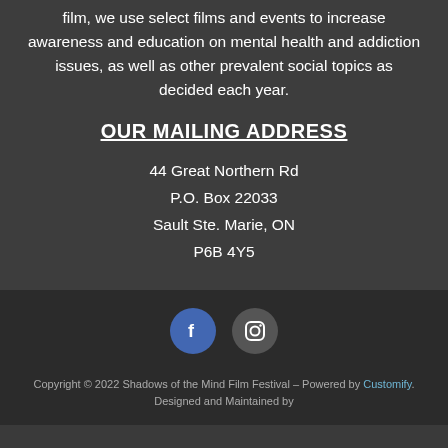film, we use select films and events to increase awareness and education on mental health and addiction issues, as well as other prevalent social topics as decided each year.
OUR MAILING ADDRESS
44 Great Northern Rd
P.O. Box 22033
Sault Ste. Marie, ON
P6B 4Y5
[Figure (other): Facebook and Instagram social media icon circles]
Copyright © 2022 Shadows of the Mind Film Festival – Powered by Customify. Designed and Maintained by